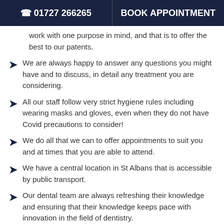📞 01727 266265   BOOK APPOINTMENT
work with one purpose in mind, and that is to offer the best to our patents.
We are always happy to answer any questions you might have and to discuss, in detail any treatment you are considering.
All our staff follow very strict hygiene rules including wearing masks and gloves, even when they do not have Covid precautions to consider!
We do all that we can to offer appointments to suit you and at times that you are able to attend.
We have a central location in St Albans that is accessible by public transport.
Our dental team are always refreshing their knowledge and ensuring that their knowledge keeps pace with innovation in the field of dentistry.